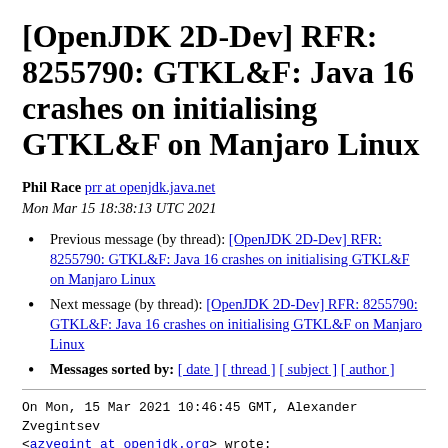[OpenJDK 2D-Dev] RFR: 8255790: GTKL&F: Java 16 crashes on initialising GTKL&F on Manjaro Linux
Phil Race prr at openjdk.java.net
Mon Mar 15 18:38:13 UTC 2021
Previous message (by thread): [OpenJDK 2D-Dev] RFR: 8255790: GTKL&F: Java 16 crashes on initialising GTKL&F on Manjaro Linux
Next message (by thread): [OpenJDK 2D-Dev] RFR: 8255790: GTKL&F: Java 16 crashes on initialising GTKL&F on Manjaro Linux
Messages sorted by: [ date ] [ thread ] [ subject ] [ author ]
On Mon, 15 Mar 2021 10:46:45 GMT, Alexander Zvegintsev
<azvegint at openjdk.org> wrote:

>> From a build perspective this partially reverts